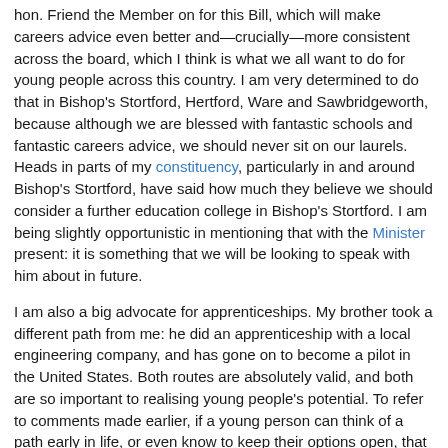hon. Friend the Member on for this Bill, which will make careers advice even better and—crucially—more consistent across the board, which I think is what we all want to do for young people across this country. I am very determined to do that in Bishop's Stortford, Hertford, Ware and Sawbridgeworth, because although we are blessed with fantastic schools and fantastic careers advice, we should never sit on our laurels. Heads in parts of my constituency, particularly in and around Bishop's Stortford, have said how much they believe we should consider a further education college in Bishop's Stortford. I am being slightly opportunistic in mentioning that with the Minister present: it is something that we will be looking to speak with him about in future.
I am also a big advocate for apprenticeships. My brother took a different path from me: he did an apprenticeship with a local engineering company, and has gone on to become a pilot in the United States. Both routes are absolutely valid, and both are so important to realising young people's potential. To refer to comments made earlier, if a young person can think of a path early in life, or even know to keep their options open, that is good advice. It is also important to consider the soft skills that careers advice can help young people build. That can direct what A-levels they might do or whether they go for an apprenticeship. Learning soft skills can be incredibly valuable in determining where they go and what they do, and in giving them an all-round education.